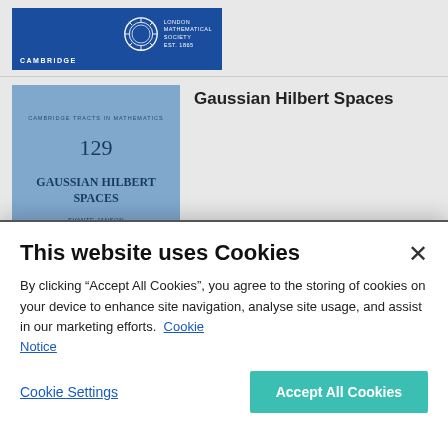[Figure (logo): Cambridge University Press logo with London Mathematical Society emblem on blue background]
[Figure (illustration): Book cover of 'Gaussian Hilbert Spaces' - Cambridge Tracts in Mathematics 129 by Svante Janson, blue cover]
Gaussian Hilbert Spaces
This website uses Cookies
By clicking “Accept All Cookies”, you agree to the storing of cookies on your device to enhance site navigation, analyse site usage, and assist in our marketing efforts. Cookie Notice
Cookie Settings
Accept All Cookies